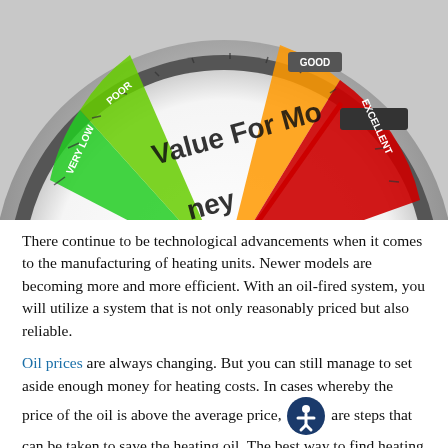[Figure (illustration): A value-for-money gauge meter with needle pointing to 'EXCELLENT' (red zone on right). Gauge shows zones: VERY LOW (green), POOR (green), GOOD (orange), EXCELLENT (red). Text 'Value For Money' appears on the dial face.]
There continue to be technological advancements when it comes to the manufacturing of heating units. Newer models are becoming more and more efficient. With an oil-fired system, you will utilize a system that is not only reasonably priced but also reliable.
Oil prices are always changing. But you can still manage to set aside enough money for heating costs. In cases whereby the price of the oil is above the average price, [accessibility icon] are steps that can be taken to save the heating oil. The best way to find heating oil costs that are within your